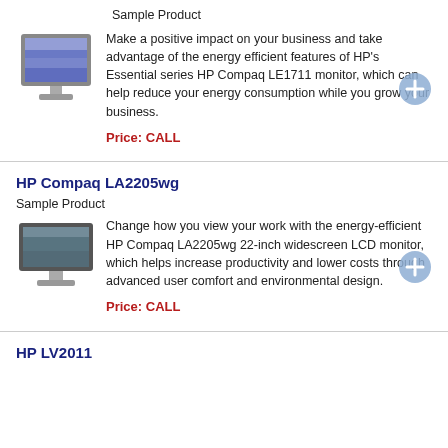Sample Product
[Figure (illustration): HP monitor (LE1711) product image]
Make a positive impact on your business and take advantage of the energy efficient features of HP's Essential series HP Compaq LE1711 monitor, which can help reduce your energy consumption while you grow your business.
Price: CALL
HP Compaq LA2205wg
Sample Product
[Figure (illustration): HP monitor (LA2205wg) product image]
Change how you view your work with the energy-efficient HP Compaq LA2205wg 22-inch widescreen LCD monitor, which helps increase productivity and lower costs through advanced user comfort and environmental design.
Price: CALL
HP LV2011